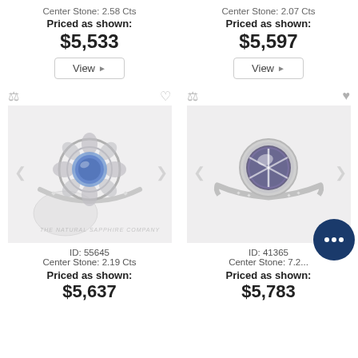Center Stone: 2.58 Cts
Priced as shown:
$5,533
Center Stone: 2.07 Cts
Priced as shown:
$5,597
[Figure (photo): Vintage-style floral sapphire ring in white gold with blue center stone and diamond halo, ID 55645]
[Figure (photo): Simple bezel-set star sapphire ring in white gold with dark purple-grey center stone, ID 41365]
ID: 55645
Center Stone: 2.19 Cts
Priced as shown:
$5,637
ID: 41365
Center Stone: 7.2...
Priced as shown:
$5,783